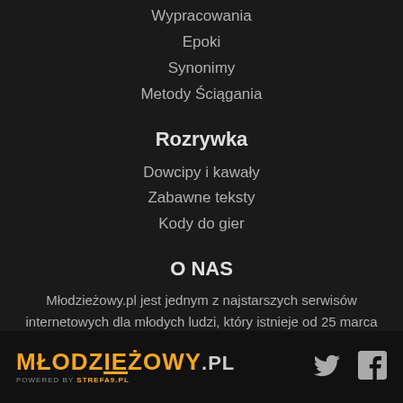Wypracowania
Epoki
Synonimy
Metody Ściągania
Rozrywka
Dowcipy i kawały
Zabawne teksty
Kody do gier
O NAS
Młodzieżowy.pl jest jednym z najstarszych serwisów internetowych dla młodych ludzi, który istnieje od 25 marca 2001 roku! Dawniej znany jako Strefa9.pl
Młodzieżowy.pl | powered by STREFA9.PL | Twitter | Facebook